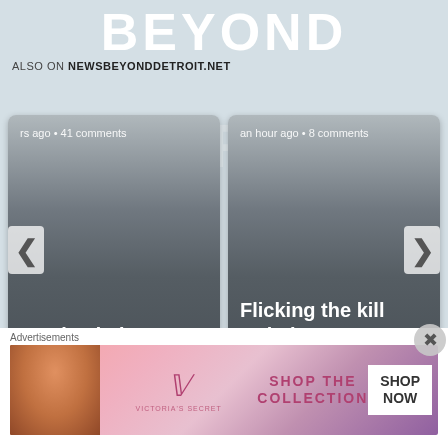BEYOND
ALSO ON NEWSBEYONDDETROIT.NET
[Figure (screenshot): Two article cards in a carousel. Left card: 'rs ago • 41 comments' / 'Barricaded gunman accused of ...'. Right card: 'an hour ago • 8 comments' / 'Flicking the kill switch: governments ...' with left and right navigation arrows.]
Comments   Community   🔒 Privacy Policy   1   Login ▾
[Figure (photo): Victoria's Secret advertisement banner showing a woman with curly hair, VS logo, text 'SHOP THE COLLECTION', and 'SHOP NOW' button.]